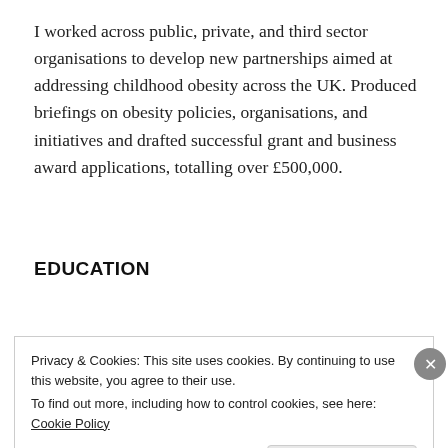I worked across public, private, and third sector organisations to develop new partnerships aimed at addressing childhood obesity across the UK. Produced briefings on obesity policies, organisations, and initiatives and drafted successful grant and business award applications, totalling over £500,000.
EDUCATION
2009 - 2013 PhD Marine Science, University of...
Privacy & Cookies: This site uses cookies. By continuing to use this website, you agree to their use.
To find out more, including how to control cookies, see here: Cookie Policy
Close and accept